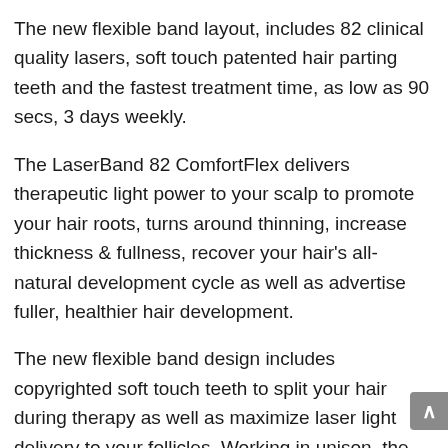The new flexible band layout, includes 82 clinical quality lasers, soft touch patented hair parting teeth and the fastest treatment time, as low as 90 secs, 3 days weekly.
The LaserBand 82 ComfortFlex delivers therapeutic light power to your scalp to promote your hair roots, turns around thinning, increase thickness & fullness, recover your hair's all-natural development cycle as well as advertise fuller, healthier hair development.
The new flexible band design includes copyrighted soft touch teeth to split your hair during therapy as well as maximize laser light delivery to your follicles. Working in unison, the hair parting teeth, the laser light strength as well as laser light density offer an extremely effective treatment. Without hair parting teeth, the hair can obstruct most of the laser light